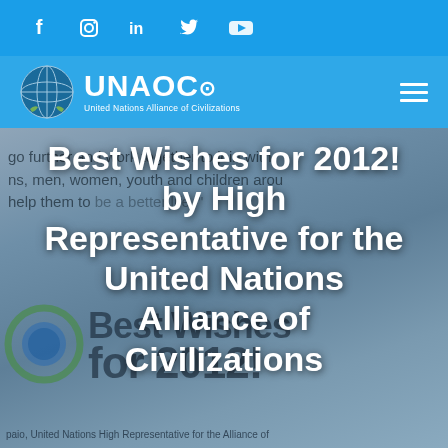Social media icons: Facebook, Instagram, LinkedIn, Twitter, YouTube
[Figure (logo): UNAOC logo with UN globe emblem and text 'United Nations Alliance of Civilizations']
[Figure (photo): Background image showing 'Best Wishes for 2012!' text with UNAOC logo circle graphics, partially obscured quote text and footer attribution to United Nations High Representative for the Alliance of Civilizations]
Best Wishes for 2012! by High Representative for the United Nations Alliance of Civilizations